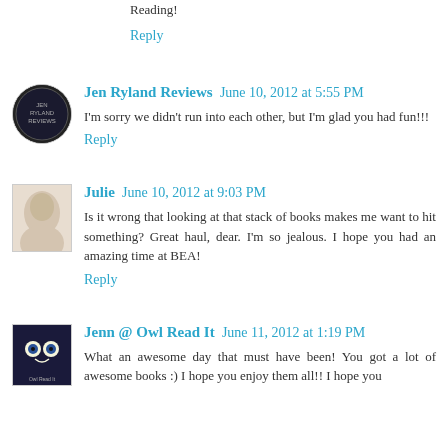Reading!
Reply
Jen Ryland Reviews  June 10, 2012 at 5:55 PM
I'm sorry we didn't run into each other, but I'm glad you had fun!!!
Reply
Julie  June 10, 2012 at 9:03 PM
Is it wrong that looking at that stack of books makes me want to hit something? Great haul, dear. I'm so jealous. I hope you had an amazing time at BEA!
Reply
Jenn @ Owl Read It  June 11, 2012 at 1:19 PM
What an awesome day that must have been! You got a lot of awesome books :) I hope you enjoy them all!! I hope you